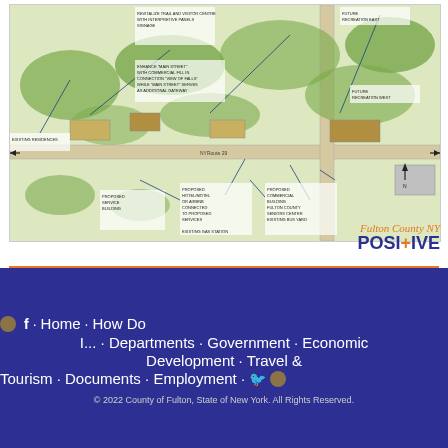[Figure (map): Aerial illustrated map of a town/development plan for Fulton County NY, showing proposed hotels, commercial buildings, senior center, service buildings, existing residences, gas station, bus stop, and road connections with labeled annotations and leader lines.]
[Figure (logo): Fulton County NY POSITIVE logo with orange script text 'Fulton County NY' and bold 'POSI+IVE' text in blue and orange.]
© f · Home · How Do I... · Departments · Government · Economic Development · Travel & Tourism · Documents · Employment ·
© 2022 County of Fulton, State of New York. All Rights Reserved.